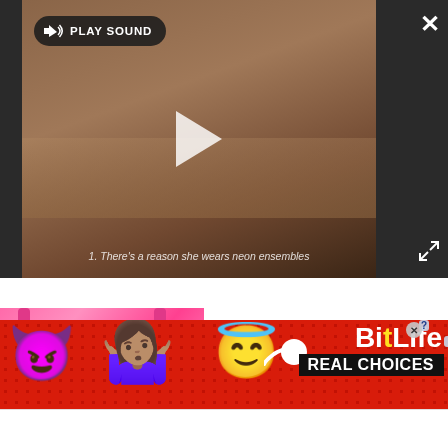[Figure (screenshot): Video player overlay on dark gray background showing a horse-drawn carriage scene. Play button in center. 'PLAY SOUND' button top-left with speaker icon. Close X top-right. Expand icon bottom-right. Subtitle: '1. There's a reason she wears neon ensembles']
[Figure (photo): Pink handbag/purse close-up photo with a small black label, pink straps visible]
[Figure (other): BitLife advertisement banner on red polka-dot background featuring devil emoji, person emoji, angel emoji, sperm icon, BitLife logo in white/yellow, and 'REAL CHOICES' text in white on black]